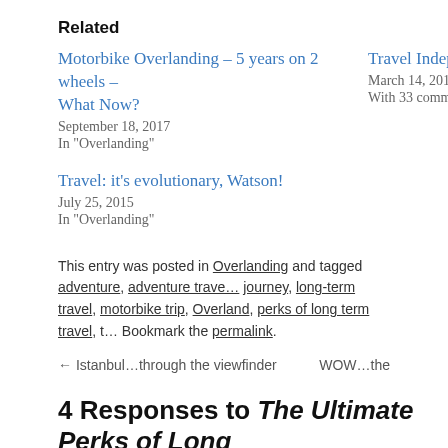Related
Motorbike Overlanding – 5 years on 2 wheels – What Now?
September 18, 2017
In "Overlanding"
Travel Independence
March 14, 2015
With 33 comments
Travel: it's evolutionary, Watson!
July 25, 2015
In "Overlanding"
This entry was posted in Overlanding and tagged adventure, adventure travel, journey, long-term travel, motorbike trip, Overland, perks of long term travel, t… Bookmark the permalink.
← Istanbul…through the viewfinder
WOW…the
4 Responses to The Ultimate Perks of Long
lambskinny says:
September 19, 2013 at 12:56 am